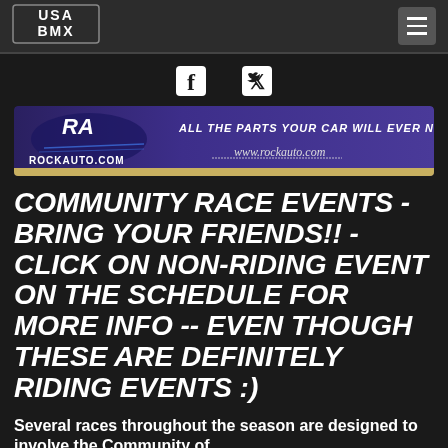USA BMX
[Figure (logo): USA BMX logo in top left of header bar]
[Figure (illustration): RockAuto.com advertisement banner: purple background with logo and text ALL THE PARTS YOUR CAR WILL EVER NEED, www.rockauto.com]
COMMUNITY RACE EVENTS - BRING YOUR FRIENDS!! -CLICK ON NON-RIDING EVENT ON THE SCHEDULE FOR MORE INFO -- EVEN THOUGH THESE ARE DEFINITELY RIDING EVENTS :)
Several races throughout the season are designed to involve the Community of